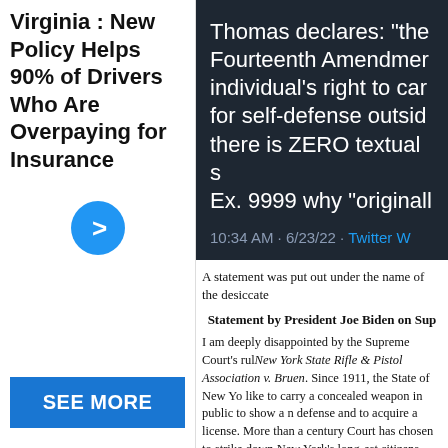Virginia : New Policy Helps 90% of Drivers Who Are Overpaying for Insurance
[Figure (other): Blue circular button with right-arrow chevron]
SEE MORE
[Figure (screenshot): Tweet screenshot on dark background: Thomas declares: "the Fourteenth Amendment individual's right to carry for self-defense outside there is ZERO textual s... Ex. 9999 why "original... 10:34 AM · 6/23/22 · Twitter W...]
A statement was put out under the name of the desiccate...
Statement by President Joe Biden on Supreme Court...
I am deeply disappointed by the Supreme Court's ruling in New York State Rifle & Pistol Association v. Bruen. Since 1911, the State of New Yo... like to carry a concealed weapon in public to show a need for self-defense and to acquire a license. More than a century... Court has chosen to strike down New York's long-est... citizens. This ruling contradicts both common sense...